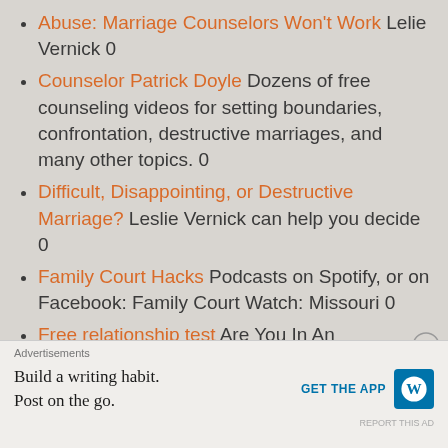Abuse: Marriage Counselors Won't Work Lelie Vernick 0
Counselor Patrick Doyle Dozens of free counseling videos for setting boundaries, confrontation, destructive marriages, and many other topics. 0
Difficult, Disappointing, or Destructive Marriage? Leslie Vernick can help you decide 0
Family Court Hacks Podcasts on Spotify, or on Facebook: Family Court Watch: Missouri 0
Free relationship test Are You In An Emotionally Destructive Relationship? 0
International blogs and resources for marriage and family life FamilyLife global 0
Advertisements
Build a writing habit. Post on the go. GET THE APP